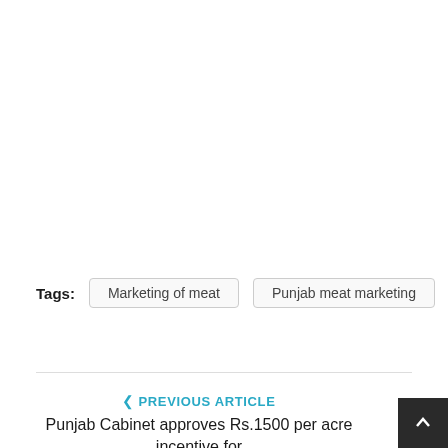Tags: Marketing of meat  Punjab meat marketing
< PREVIOUS ARTICLE
Punjab Cabinet approves Rs.1500 per acre incentive for farmers adopting DSR Technology